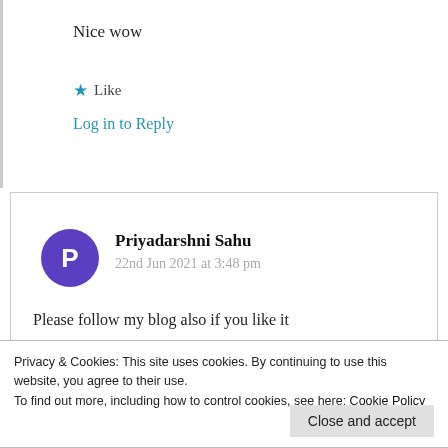Nice wow
★ Like
Log in to Reply
Priyadarshni Sahu
22nd Jun 2021 at 3:48 pm
Please follow my blog also if you like it
Privacy & Cookies: This site uses cookies. By continuing to use this website, you agree to their use. To find out more, including how to control cookies, see here: Cookie Policy
Close and accept